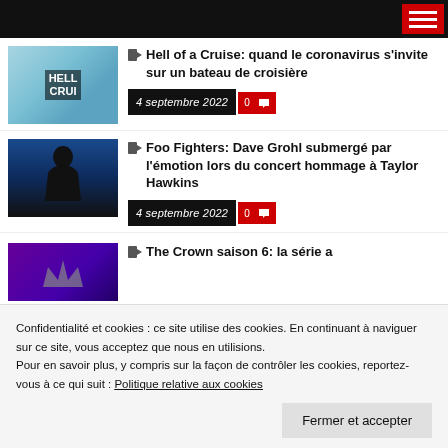Navigation bar with hamburger menu
Hell of a Cruise: quand le coronavirus s'invite sur un bateau de croisière — 4 septembre 2022
Foo Fighters: Dave Grohl submergé par l'émotion lors du concert hommage à Taylor Hawkins — 4 septembre 2022
The Crown saison 6: la série a — 3 septembre 2022
Confidentialité et cookies : ce site utilise des cookies. En continuant à naviguer sur ce site, vous acceptez que nous en utilisions. Pour en savoir plus, y compris sur la façon de contrôler les cookies, reportez-vous à ce qui suit : Politique relative aux cookies
Fermer et accepter